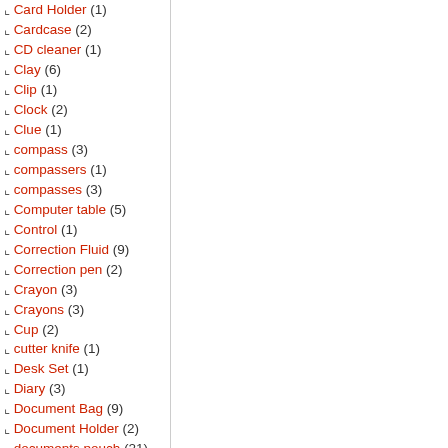⌞ Card Holder (1)
⌞ Cardcase (2)
⌞ CD cleaner (1)
⌞ Clay (6)
⌞ Clip (1)
⌞ Clock (2)
⌞ Clue (1)
⌞ compass (3)
⌞ compassers (1)
⌞ compasses (3)
⌞ Computer table (5)
⌞ Control (1)
⌞ Correction Fluid (9)
⌞ Correction pen (2)
⌞ Crayon (3)
⌞ Crayons (3)
⌞ Cup (2)
⌞ cutter knife (1)
⌞ Desk Set (1)
⌞ Diary (3)
⌞ Document Bag (9)
⌞ Document Holder (2)
⌞ documents pouch (21)
⌞ drawing board (1)
⌞ Dye (1)
⌞ Dye powder (13)
⌞ Earphone (2)
⌞ Easel (2)
⌞ Elastic (1)
⌞ eraser (3)
⌞ Erazer (1)
⌞ File bag (10)
⌞ File bag A4 (4)
⌞ Flag (1)
⌞ fluorescence pen (1)
⌞ frame (1)
⌞ glue (12)